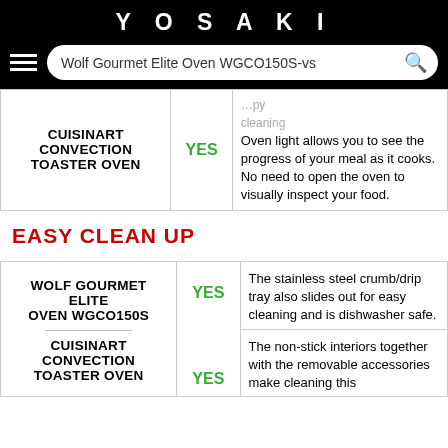YOSAKI
Wolf Gourmet Elite Oven WGCO150S-vs
| Product | Yes/No | Description |
| --- | --- | --- |
| CUISINART CONVECTION TOASTER OVEN | YES | Oven light allows you to see the progress of your meal as it cooks. No need to open the oven to visually inspect your food. |
EASY CLEAN UP
| Product | Yes/No | Description |
| --- | --- | --- |
| WOLF GOURMET ELITE OVEN WGCO150S | YES | The stainless steel crumb/drip tray also slides out for easy cleaning and is dishwasher safe. |
| CUISINART CONVECTION TOASTER OVEN | YES | The non-stick interiors together with the removable accessories make cleaning this |